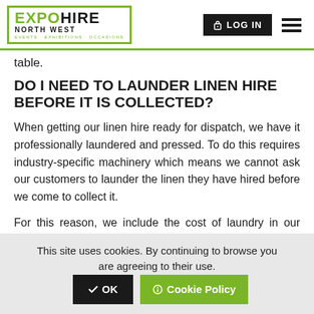EXPO HIRE NORTH WEST — Events · Exhibitions · Occasions | LOG IN
table.
DO I NEED TO LAUNDER LINEN HIRE BEFORE IT IS COLLECTED?
When getting our linen hire ready for dispatch, we have it professionally laundered and pressed. To do this requires industry-specific machinery which means we cannot ask our customers to launder the linen they have hired before we come to collect it.
For this reason, we include the cost of laundry in our linen hire price. All we ask of our customers is
This site uses cookies. By continuing to browse you are agreeing to their use.